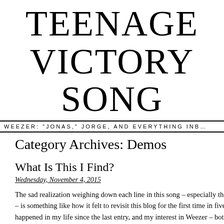TEENAGE VICTORY SONG
WEEZER: "JONAS," JORGE, AND EVERYTHING INB…
Category Archives: Demos
What Is This I Find?
Wednesday, November 4, 2015
The sad realization weighing down each line in this song – especially the opening, titular lyric – is something like how it felt to revisit this blog for the first time in five years. A lot has happened in my life since the last entry, and my interest in Weezer – both as music and […]
SEARCH
RECENT COM…
Ben Hogan on Cal…
Sheila Ravendhra… Can Do (…
Miss Sweeney - F…
JillL on F…
Sally Boy Candy B…
gbrvtpnz on Calif…
egadman on Calif…